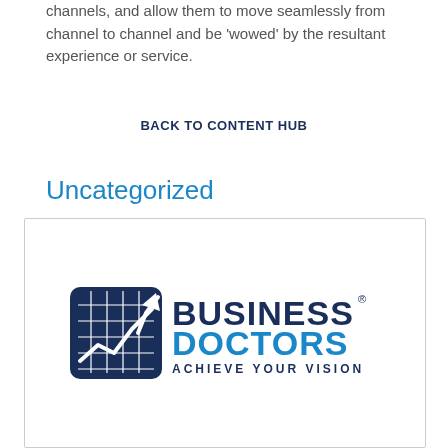channels, and allow them to move seamlessly from channel to channel and be 'wowed' by the resultant experience or service.
BACK TO CONTENT HUB
Uncategorized
[Figure (logo): Business Doctors logo — dark blue grid icon with upward trend chart, beside bold text 'BUSINESS DOCTORS' and tagline 'ACHIEVE YOUR VISION']